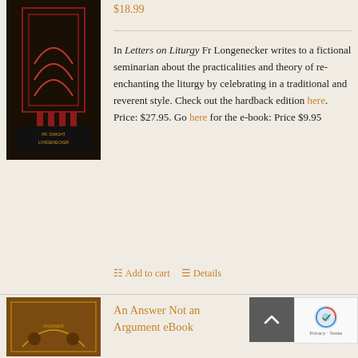$18.99
[Figure (photo): Book cover for Letters on Liturgy by Fr. Dwight Longenecker - dark cover with red architectural/decorative pattern]
In Letters on Liturgy Fr Longenecker writes to a fictional seminarian about the practicalities and theory of re-enchanting the liturgy by celebrating in a traditional and reverent style. Check out the hardback edition here. Price: $27.95. Go here for the e-book: Price $9.95
Add to cart
Details
[Figure (photo): Book cover for An Answer Not an Argument eBook - orange/gold toned cover]
An Answer Not an Argument eBook